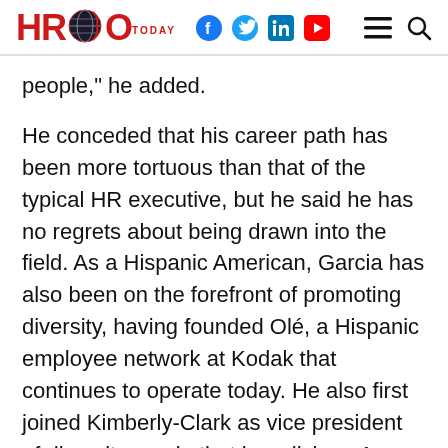HR Today [logo with globe icon, social icons: Facebook, Twitter, LinkedIn, YouTube, hamburger menu, search]
people,” he added.
He conceded that his career path has been more tortuous than that of the typical HR executive, but he said he has no regrets about being drawn into the field. As a Hispanic American, Garcia has also been on the forefront of promoting diversity, having founded Olé, a Hispanic employee network at Kodak that continues to operate today. He also first joined Kimberly-Clark as vice president of diversity, a role that he relishes. A strong